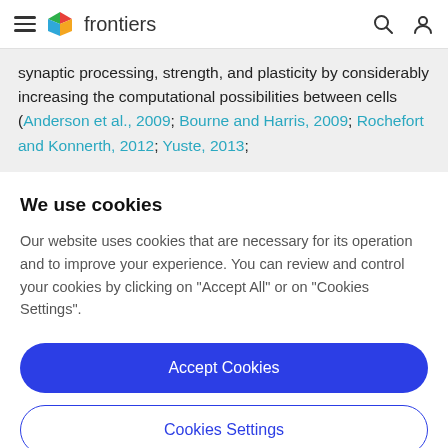frontiers
synaptic processing, strength, and plasticity by considerably increasing the computational possibilities between cells (Anderson et al., 2009; Bourne and Harris, 2009; Rochefort and Konnerth, 2012; Yuste, 2013;
We use cookies
Our website uses cookies that are necessary for its operation and to improve your experience. You can review and control your cookies by clicking on "Accept All" or on "Cookies Settings".
Accept Cookies
Cookies Settings